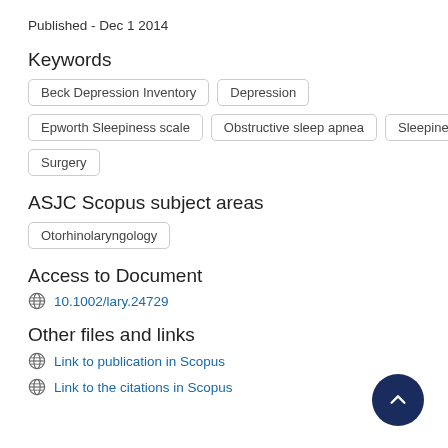Published - Dec 1 2014
Keywords
Beck Depression Inventory
Depression
Epworth Sleepiness scale
Obstructive sleep apnea
Sleepiness
Surgery
ASJC Scopus subject areas
Otorhinolaryngology
Access to Document
10.1002/lary.24729
Other files and links
Link to publication in Scopus
Link to the citations in Scopus